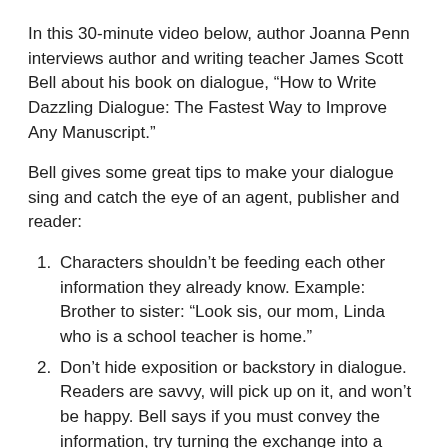In this 30-minute video below, author Joanna Penn interviews author and writing teacher James Scott Bell about his book on dialogue, “How to Write Dazzling Dialogue: The Fastest Way to Improve Any Manuscript.”
Bell gives some great tips to make your dialogue sing and catch the eye of an agent, publisher and reader:
Characters shouldn’t be feeding each other information they already know. Example: Brother to sister: “Look sis, our mom, Linda who is a school teacher is home.”
Don’t hide exposition or backstory in dialogue. Readers are savvy, will pick up on it, and won’t be happy. Bell says if you must convey the information, try turning the exchange into a confrontation. More information tends to be exchanged when people are confrontational.